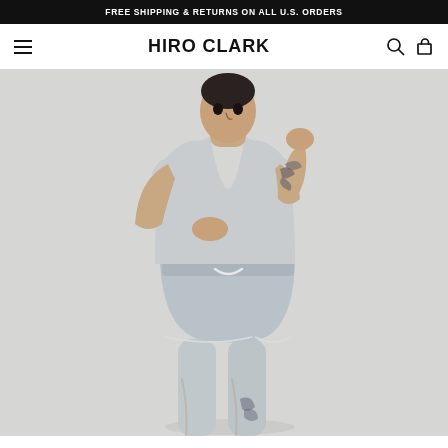FREE SHIPPING & RETURNS ON ALL U.S. ORDERS
HIRO CLARK
[Figure (photo): Male model wearing a grey sleeveless tank top and grey drawstring shorts, posing with hands near his face, tattooed shoulder visible, against a light grey background.]